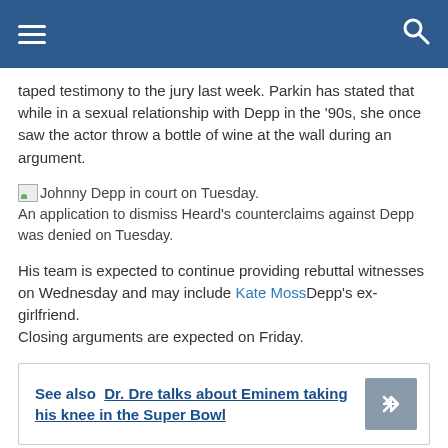taped testimony to the jury last week. Parkin has stated that while in a sexual relationship with Depp in the '90s, she once saw the actor throw a bottle of wine at the wall during an argument.
[Figure (photo): Small broken image icon for Johnny Depp in court on Tuesday.]
Johnny Depp in court on Tuesday.
An application to dismiss Heard's counterclaims against Depp was denied on Tuesday.
His team is expected to continue providing rebuttal witnesses on Wednesday and may include Kate Moss Depp's ex-girlfriend.
Closing arguments are expected on Friday.
See also  Dr. Dre talks about Eminem taking his knee in the Super Bowl